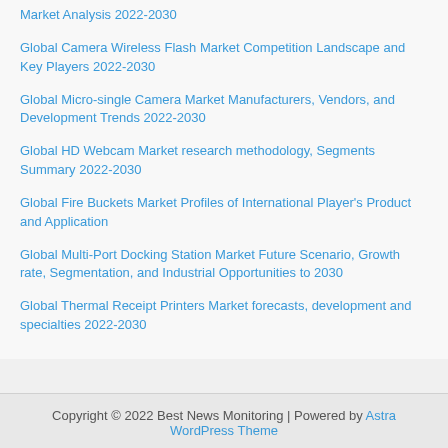Market Analysis 2022-2030
Global Camera Wireless Flash Market Competition Landscape and Key Players 2022-2030
Global Micro-single Camera Market Manufacturers, Vendors, and Development Trends 2022-2030
Global HD Webcam Market research methodology, Segments Summary 2022-2030
Global Fire Buckets Market Profiles of International Player's Product and Application
Global Multi-Port Docking Station Market Future Scenario, Growth rate, Segmentation, and Industrial Opportunities to 2030
Global Thermal Receipt Printers Market forecasts, development and specialties 2022-2030
Copyright © 2022 Best News Monitoring | Powered by Astra WordPress Theme